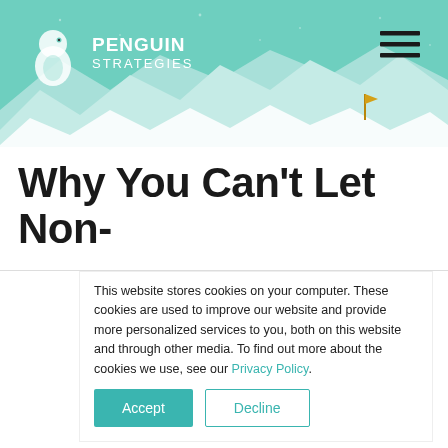Penguin Strategies
[Figure (illustration): Penguin Strategies logo with penguin icon and text, mountain/snow illustration background in teal, hamburger menu icon top right, and a small gold flag marker on the mountain]
Why You Can't Let Non-
This website stores cookies on your computer. These cookies are used to improve our website and provide more personalized services to you, both on this website and through other media. To find out more about the cookies we use, see our Privacy Policy.